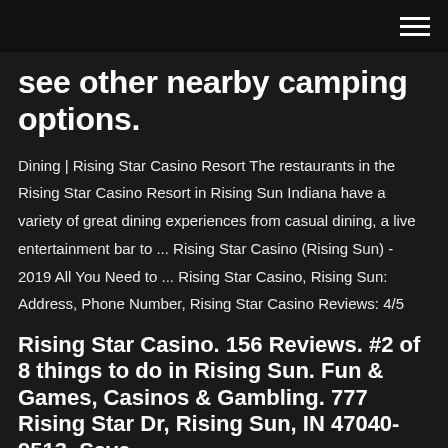see other nearby camping options.
Dining | Rising Star Casino Resort The restaurants in the Rising Star Casino Resort in Rising Sun Indiana have a variety of great dining experiences from casual dining, a live entertainment bar to ... Rising Star Casino (Rising Sun) - 2019 All You Need to ... Rising Star Casino, Rising Sun: Address, Phone Number, Rising Star Casino Reviews: 4/5
Rising Star Casino. 156 Reviews. #2 of 8 things to do in Rising Sun. Fun & Games, Casinos & Gambling. 777 Rising Star Dr, Rising Sun, IN 47040-9513. Save.
Rising Star Casino. Welcome. Login. Sign up. Visit Rising